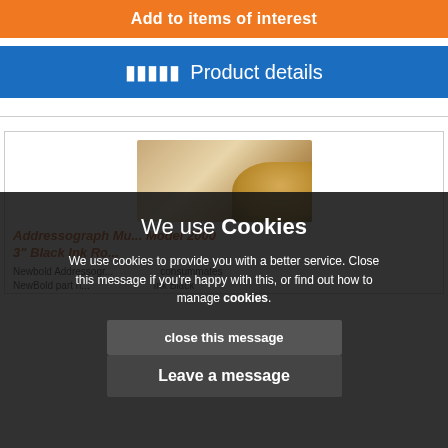Add to items of interest
Product details
[Figure (photo): Product image showing an ink roll or similar cylindrical product with brown/gold tones]
Addressograph Multi... Model 2000 3" Black Ink Ro...
Newbold Addressograph... consummates NewBold part n... Ink Black
We use Cookies
We use cookies to provide you with a better service. Close this message if you're happy with this, or find out how to manage cookies.
close this message
Leave a message